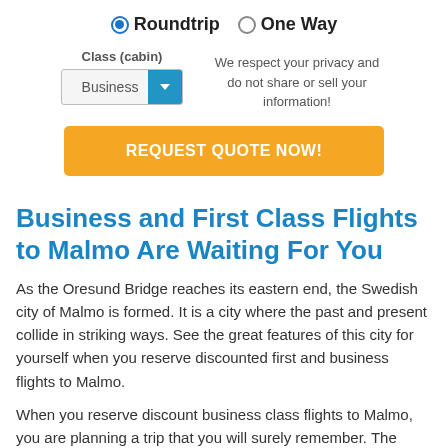Roundtrip  One Way
Class (cabin) Business
We respect your privacy and do not share or sell your information!
REQUEST QUOTE NOW!
Business and First Class Flights to Malmo Are Waiting For You
As the Oresund Bridge reaches its eastern end, the Swedish city of Malmo is formed. It is a city where the past and present collide in striking ways. See the great features of this city for yourself when you reserve discounted first and business flights to Malmo.
When you reserve discount business class flights to Malmo, you are planning a trip that you will surely remember. The